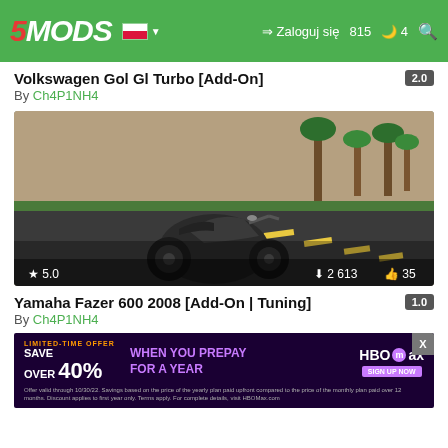5MODS | Zaloguj się | 815 | 4
Volkswagen Gol Gl Turbo [Add-On]
By Ch4P1NH4
[Figure (screenshot): Screenshot of a motorcycle (appears to be a Yamaha FZ/Fazer type) on a city road in GTA V, with palm trees in background. Shows rating 5.0, downloads 2 613, likes 35.]
Yamaha Fazer 600 2008 [Add-On | Tuning]
By Ch4P1NH4
[Figure (screenshot): Advertisement banner: LIMITED-TIME OFFER SAVE OVER 40% WHEN YOU PREPAY FOR A YEAR - HBO Max. Fine print below.]